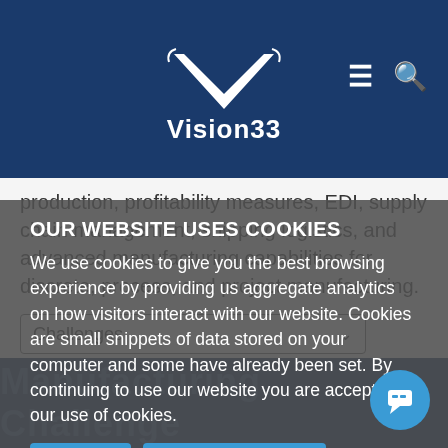[Figure (logo): Vision33 logo with V chevron shape in white on dark blue background, with hamburger menu and search icon on the right]
production, profitability measures, EDI, supply chain management, shipping logistics, and advanced manufacturing capabilities for discrete, process, and project manufacturing.
Challenges (dropdown)
Manufacturing Challenge (bottom banner watermark text)
OUR WEBSITE USES COOKIES
We use cookies to give you the best browsing experience by providing us aggregate analytics on how visitors interact with our website. Cookies are small snippets of data stored on your computer and some have already been set. By continuing to use our website you are accepting our use of cookies.
Accept
More Information